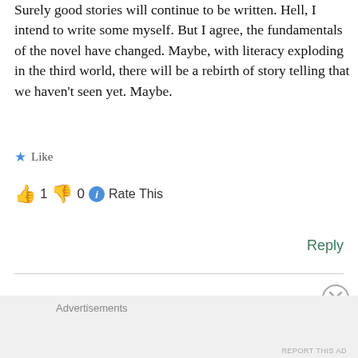Surely good stories will continue to be written. Hell, I intend to write some myself. But I agree, the fundamentals of the novel have changed. Maybe, with literacy exploding in the third world, there will be a rebirth of story telling that we haven't seen yet. Maybe.
Like
1  0  Rate This
Reply
Advertisements
REPORT THIS AD